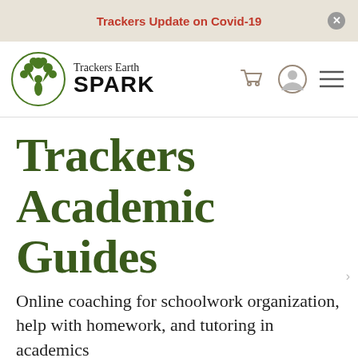Trackers Update on Covid-19
[Figure (logo): Trackers Earth SPARK logo with tree and person silhouette in green circle, with cart, user, and menu icons]
Trackers Academic Guides
Online coaching for schoolwork organization, help with homework, and tutoring in academics
Support children's academic achievement with...